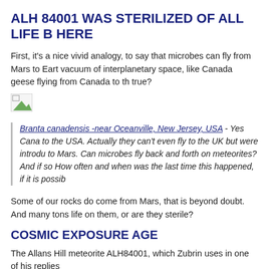ALH 84001 WAS STERILIZED OF ALL LIFE B HERE
First, it's a nice vivid analogy, to say that microbes can fly from Mars to Eart vacuum of interplanetary space, like Canada geese flying from Canada to th true?
[Figure (photo): Broken image placeholder icon]
Branta canadensis -near Oceanville, New Jersey, USA - Yes Cana to the USA. Actually they can't even fly to the UK but were introdu to Mars. Can microbes fly back and forth on meteorites? And if so How often and when was the last time this happened, if it is possib
Some of our rocks do come from Mars, that is beyond doubt. And many tons life on them, or are they sterile?
COSMIC EXPOSURE AGE
The Allans Hill meteorite ALH84001, which Zubrin uses in one of his replies